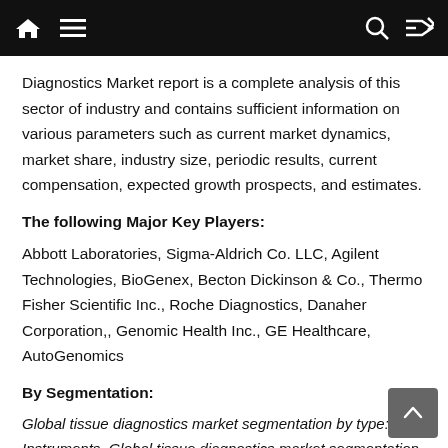Navigation bar with home, menu, search, and shuffle icons
Diagnostics Market report is a complete analysis of this sector of industry and contains sufficient information on various parameters such as current market dynamics, market share, industry size, periodic results, current compensation, expected growth prospects, and estimates.
The following Major Key Players:
Abbott Laboratories, Sigma-Aldrich Co. LLC, Agilent Technologies, BioGenex, Becton Dickinson & Co., Thermo Fisher Scientific Inc., Roche Diagnostics, Danaher Corporation,, Genomic Health Inc., GE Healthcare, AutoGenomics
By Segmentation:
Global tissue diagnostics market segmentation by type: Kits, Instruments. Global tissue diagnostics market segmentation by end-